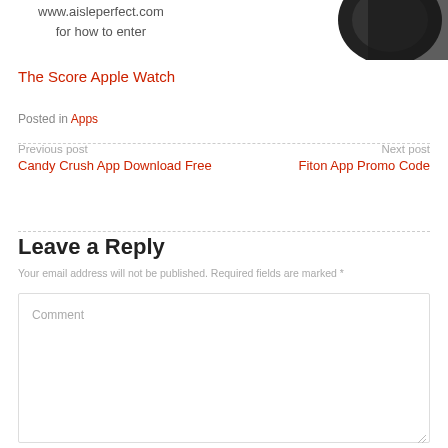[Figure (photo): Partial view of an Apple Watch on dark background, top right corner]
www.aisleperfect.com
for how to enter
The Score Apple Watch
Posted in Apps
Previous post
Candy Crush App Download Free
Next post
Fiton App Promo Code
Leave a Reply
Your email address will not be published. Required fields are marked *
Comment